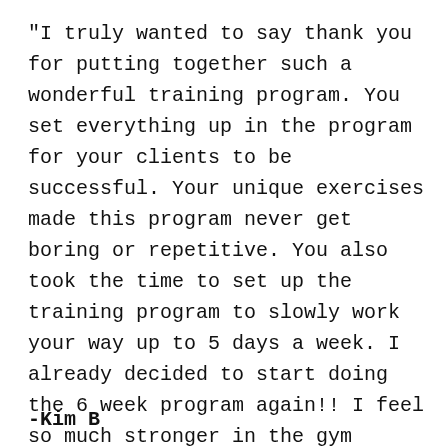“I truly wanted to say thank you for putting together such a wonderful training program. You set everything up in the program for your clients to be successful. Your unique exercises made this program never get boring or repetitive. You also took the time to set up the training program to slowly work your way up to 5 days a week. I already decided to start doing the 6 week program again!! I feel so much stronger in the gym thanks to you! You are a true inspiration and dedicated trainer. I can’t thank you enough for the encouragement through the 6 weeks!”
-Kim B